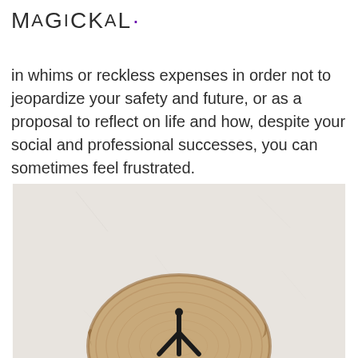Magickal·
in whims or reckless expenses in order not to jeopardize your safety and future, or as a proposal to reflect on life and how, despite your social and professional successes, you can sometimes feel frustrated.
[Figure (photo): A photograph of a wooden disc (cross-section of a log) with a rune symbol painted in black, placed against a light beige/white wall background. The wood shows natural grain rings.]